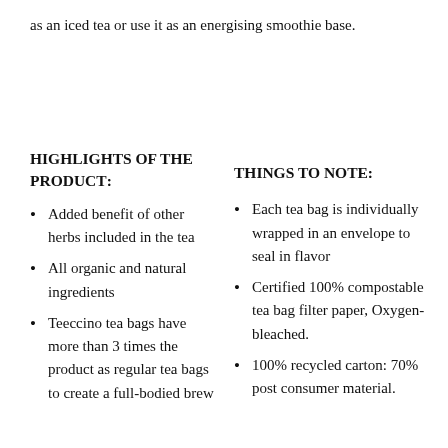as an iced tea or use it as an energising smoothie base.
HIGHLIGHTS OF THE PRODUCT:
THINGS TO NOTE:
Added benefit of other herbs included in the tea
All organic and natural ingredients
Teeccino tea bags have more than 3 times the product as regular tea bags to create a full-bodied brew
Each tea bag is individually wrapped in an envelope to seal in flavor
Certified 100% compostable tea bag filter paper, Oxygen-bleached.
100% recycled carton: 70% post consumer material.